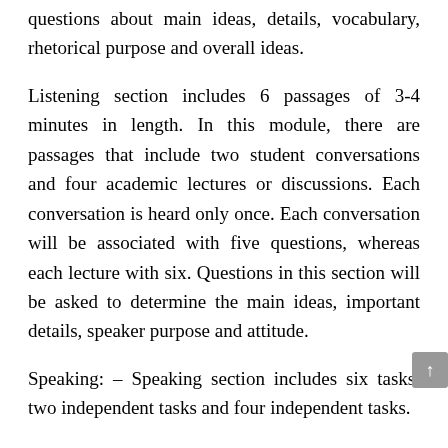questions about main ideas, details, vocabulary, rhetorical purpose and overall ideas.
Listening section includes 6 passages of 3-4 minutes in length. In this module, there are passages that include two student conversations and four academic lectures or discussions. Each conversation is heard only once. Each conversation will be associated with five questions, whereas each lecture with six. Questions in this section will be asked to determine the main ideas, important details, speaker purpose and attitude.
Speaking: – Speaking section includes six tasks, two independent tasks and four independent tasks.